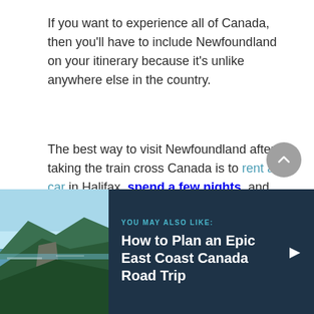If you want to experience all of Canada, then you'll have to include Newfoundland on your itinerary because it's unlike anywhere else in the country.
The best way to visit Newfoundland after taking the train cross Canada is to rent a car in Halifax, spend a few nights, and then go on an East Coast Canada road trip.
[Figure (photo): Coastal landscape photo of green hills meeting the ocean, likely Cape Breton Highlands]
YOU MAY ALSO LIKE: How to Plan an Epic East Coast Canada Road Trip